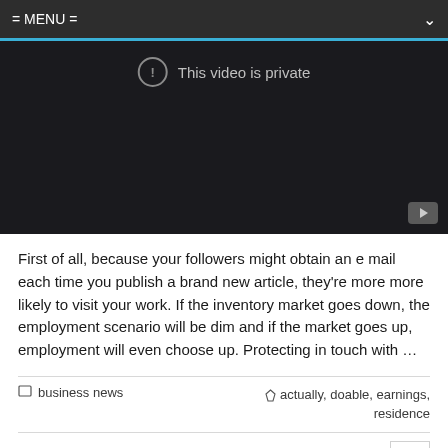= MENU =
[Figure (screenshot): Embedded video player showing 'This video is private' message with a circle exclamation icon. Dark background with YouTube play button in bottom-right corner.]
First of all, because your followers might obtain an e mail each time you publish a brand new article, they're more more likely to visit your work. If the inventory market goes down, the employment scenario will be dim and if the market goes up, employment will even choose up. Protecting in touch with …
business news
actually, doable, earnings, residence